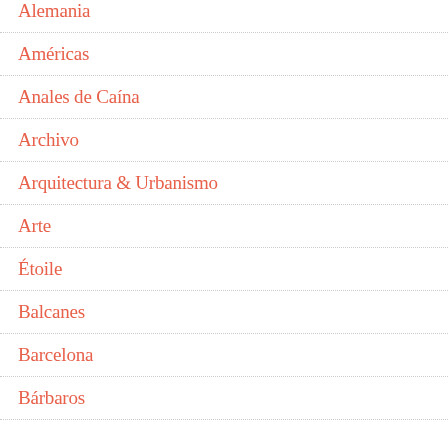Alemania
Américas
Anales de Caína
Archivo
Arquitectura & Urbanismo
Arte
Étoile
Balcanes
Barcelona
Bárbaros